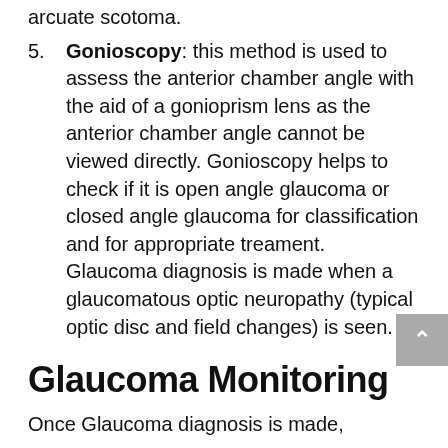arcuate scotoma.
5. Gonioscopy: this method is used to assess the anterior chamber angle with the aid of a gonioprism lens as the anterior chamber angle cannot be viewed directly. Gonioscopy helps to check if it is open angle glaucoma or closed angle glaucoma for classification and for appropriate treament. Glaucoma diagnosis is made when a glaucomatous optic neuropathy (typical optic disc and field changes) is seen.
Glaucoma Monitoring
Once Glaucoma diagnosis is made,